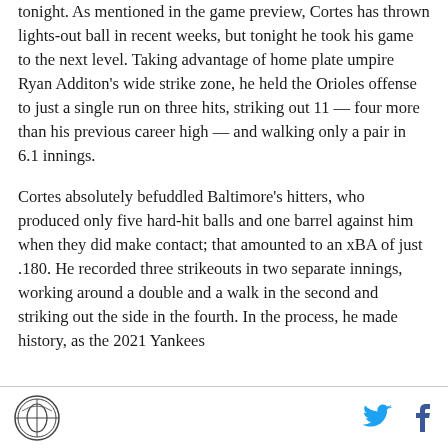tonight. As mentioned in the game preview, Cortes has thrown lights-out ball in recent weeks, but tonight he took his game to the next level. Taking advantage of home plate umpire Ryan Additon's wide strike zone, he held the Orioles offense to just a single run on three hits, striking out 11 — four more than his previous career high — and walking only a pair in 6.1 innings.
Cortes absolutely befuddled Baltimore's hitters, who produced only five hard-hit balls and one barrel against him when they did make contact; that amounted to an xBA of just .180. He recorded three strikeouts in two separate innings, working around a double and a walk in the second and striking out the side in the fourth. In the process, he made history, as the 2021 Yankees
[Pinstripe Alley logo] [Twitter icon] [Facebook icon]